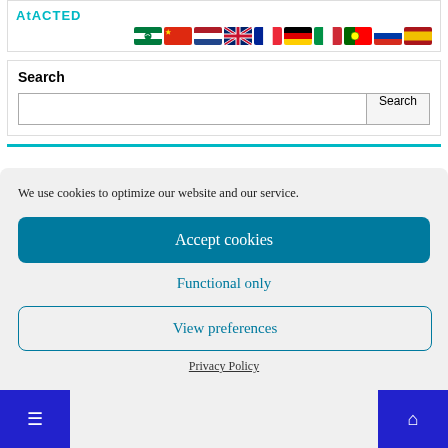AtACTED
[Figure (illustration): Row of country flag icons: Arabic, Chinese, Dutch, British, French, German, Italian, Portuguese, Russian, Spanish]
Search
We use cookies to optimize our website and our service.
Accept cookies
Functional only
View preferences
Privacy Policy